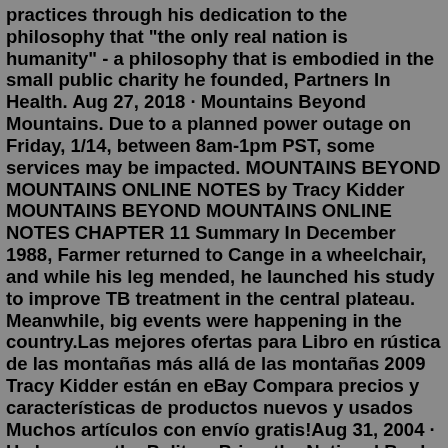practices through his dedication to the philosophy that "the only real nation is humanity" - a philosophy that is embodied in the small public charity he founded, Partners In Health. Aug 27, 2018 · Mountains Beyond Mountains. Due to a planned power outage on Friday, 1/14, between 8am-1pm PST, some services may be impacted. MOUNTAINS BEYOND MOUNTAINS ONLINE NOTES by Tracy Kidder MOUNTAINS BEYOND MOUNTAINS ONLINE NOTES CHAPTER 11 Summary In December 1988, Farmer returned to Cange in a wheelchair, and while his leg mended, he launched his study to improve TB treatment in the central plateau. Meanwhile, big events were happening in the country.Las mejores ofertas para Libro en rústica de las montañas más allá de las montañas 2009 Tracy Kidder están en eBay Compara precios y características de productos nuevos y usados Muchos artículos con envío gratis!Aug 31, 2004 · He has won the Pulitzer Prize, the National Book Award, the Robert F. Kennedy Award, and many other literary